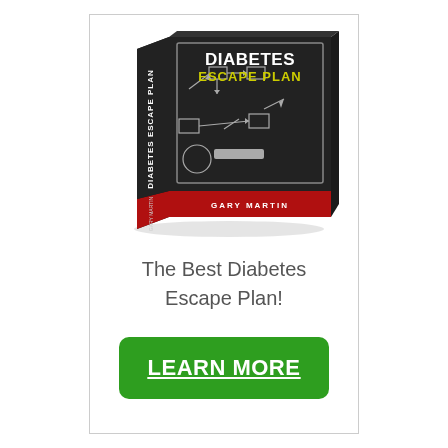[Figure (illustration): 3D book cover of 'Diabetes Escape Plan' by Gary Martin. Dark chalkboard-style cover with white text 'DIABETES ESCAPE PLAN', yellow subtitle text, and chalk-drawn diagrams. Red bottom band with 'GARY MARTIN' in white. Spine also reads 'DIABETES ESCAPE PLAN'.]
The Best Diabetes Escape Plan!
LEARN MORE